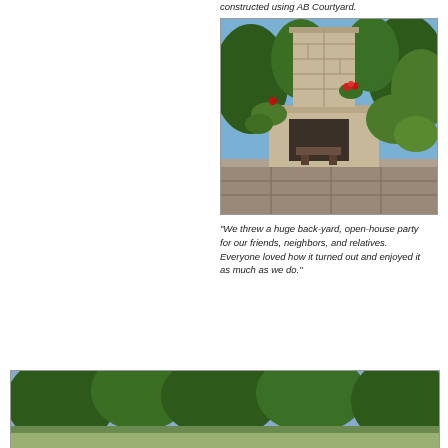constructed using AB Courtyard.
[Figure (photo): Outdoor stone fireplace with chimney, flanked by lush green plants and red flowers in planters, surrounded by trees and garden landscaping.]
"We threw a huge back-yard, open-house party for our friends, neighbors, and relatives. Everyone loved how it turned out and enjoyed it as much as we do."
[Figure (photo): Outdoor garden landscape with green trees and plants, partial view of a patio or yard area.]